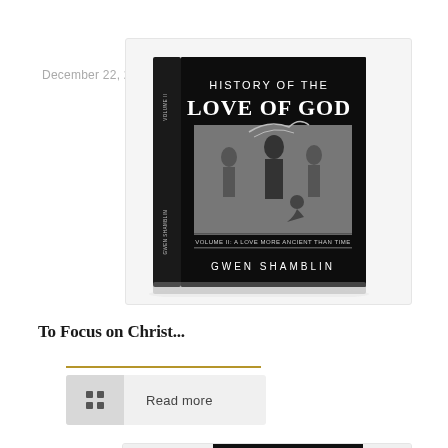December 22, 2018
[Figure (photo): Book cover of 'History of the Love of God, Volume II: A Love More Ancient Than Time' by Gwen Shamblin. Black cover with white serif text and a classical engraving illustration showing robed figures.]
To Focus on Christ...
Read more